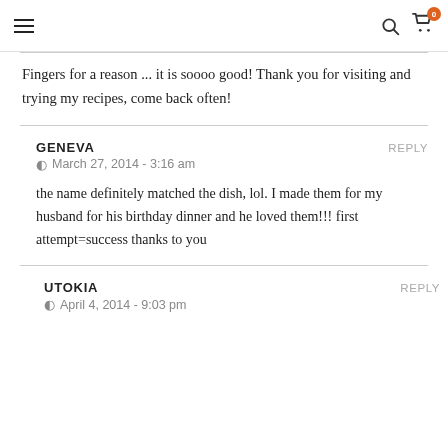Navigation menu, search, and cart icons
Fingers for a reason ... it is soooo good! Thank you for visiting and trying my recipes, come back often!
GENEVA
March 27, 2014 - 3:16 am
REPLY
the name definitely matched the dish, lol. I made them for my husband for his birthday dinner and he loved them!!! first attempt=success thanks to you
UTOKIA
April 4, 2014 - 9:03 pm
REPLY